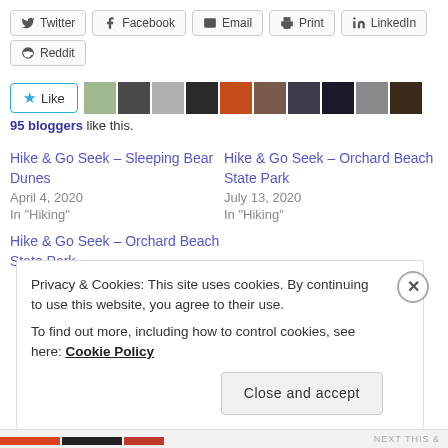Twitter
Facebook
Email
Print
LinkedIn
Reddit
95 bloggers like this.
Hike & Go Seek – Sleeping Bear Dunes
April 4, 2020
In "Hiking"
Hike & Go Seek – Orchard Beach State Park
July 13, 2020
In "Hiking"
Hike & Go Seek – Orchard Beach State Park
Privacy & Cookies: This site uses cookies. By continuing to use this website, you agree to their use.
To find out more, including how to control cookies, see here: Cookie Policy
Close and accept